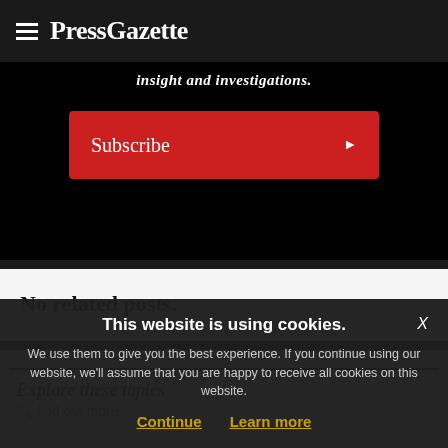PressGazette
insight and investigations.
Subscribe
No related posts.
Explore these topics
This website is using cookies. We use them to give you the best experience. If you continue using our website, we'll assume that you are happy to receive all cookies on this website.
Continue   Learn more